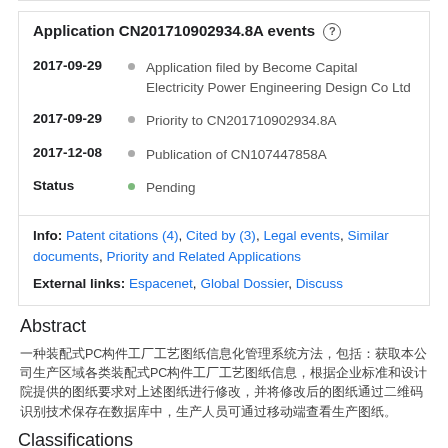Application CN201710902934.8A events
2017-09-29 • Application filed by Become Capital Electricity Power Engineering Design Co Ltd
2017-09-29 • Priority to CN201710902934.8A
2017-12-08 • Publication of CN107447858A
Status • Pending
Info: Patent citations (4), Cited by (3), Legal events, Similar documents, Priority and Related Applications
External links: Espacenet, Global Dossier, Discuss
Abstract
一种装配式PC构件工厂工艺图纸信息化管理系统方法，包括：获取本公司生产区域各类装配式PC构件工厂工艺图纸信息，根据企业标准和设计院提供的图纸要求对上述图纸进行修改，并将修改后的图纸通过二维码识别技术保存在数据库中，生产人员可通过移动端查看生产图纸。
Classifications